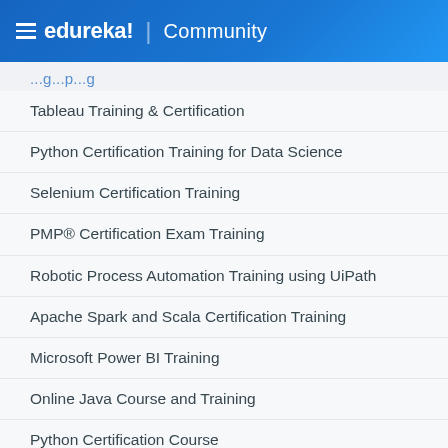edureka! | Community
Tableau Training & Certification
Python Certification Training for Data Science
Selenium Certification Training
PMP® Certification Exam Training
Robotic Process Automation Training using UiPath
Apache Spark and Scala Certification Training
Microsoft Power BI Training
Online Java Course and Training
Python Certification Course
TRENDING MASTERS COURSES
Data Scientist Masters Program
DevOps Engineer Masters Program